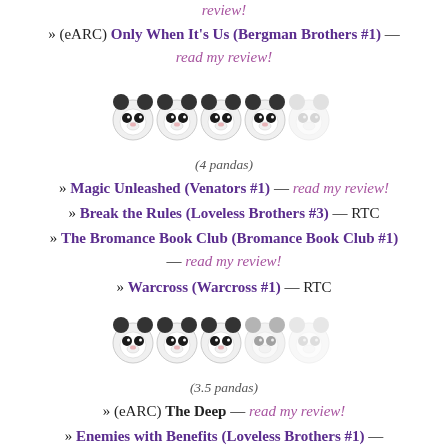review!
» (eARC) Only When It's Us (Bergman Brothers #1) — read my review!
[Figure (illustration): 5 panda emoji faces, 4 fully colored and 1 faded/gray, representing a 4-panda rating]
(4 pandas)
» Magic Unleashed (Venators #1) — read my review!
» Break the Rules (Loveless Brothers #3) — RTC
» The Bromance Book Club (Bromance Book Club #1) — read my review!
» Warcross (Warcross #1) — RTC
[Figure (illustration): 5 panda emoji faces, 3 fully colored, 1 half-faded, and 1 fully faded/gray, representing a 3.5-panda rating]
(3.5 pandas)
» (eARC) The Deep — read my review!
» Enemies with Benefits (Loveless Brothers #1) — RTC